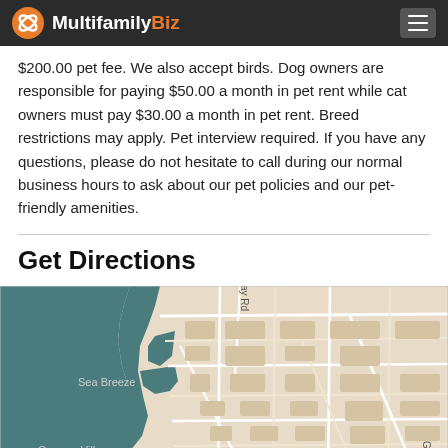MultifamilyBiz
$200.00 pet fee. We also accept birds. Dog owners are responsible for paying $50.00 a month in pet rent while cat owners must pay $30.00 a month in pet rent. Breed restrictions may apply. Pet interview required. If you have any questions, please do not hesitate to call during our normal business hours to ask about our pet policies and our pet-friendly amenities.
Get Directions
[Figure (map): Street map showing Sea Breeze and German Village areas with roads including Klem Rd, Gravel Rd, and ay Rd. Dark teal water body on the left side of the map.]